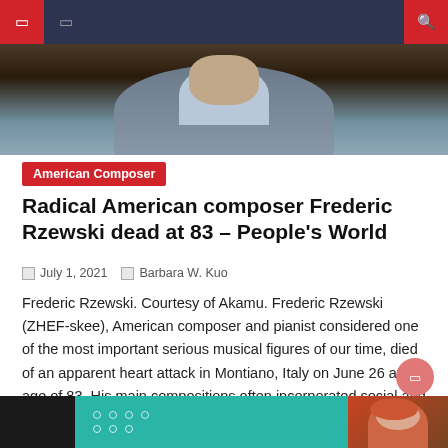[Figure (photo): Navigation bar with red icon buttons and dark navy background at top, with partial photo of a person below — grey-haired male subject visible from shoulders up with light blue shirt]
American Composer
Radical American composer Frederic Rzewski dead at 83 – People's World
July 1, 2021   Barbara W. Kuo
Frederic Rzewski. Courtesy of Akamu. Frederic Rzewski (ZHEF-skee), American composer and pianist considered one of the most important serious musical figures of our time, died of an apparent heart attack in Montiano, Italy on June 26 at the age of 83. His main compositions often incorporated social and political themes. They include the minimalist Come [...]
[Figure (photo): Bottom card showing teal background with dot grid pattern and partial view of a red-haired person on the right side]